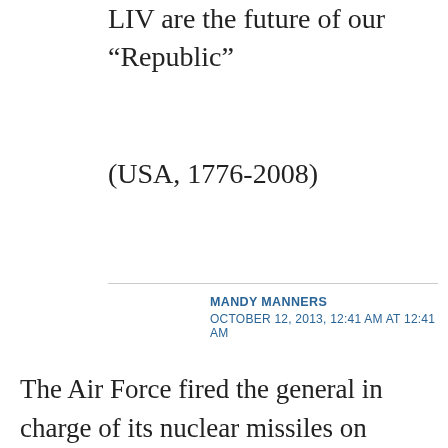LIV are the future of our “Republic”
(USA, 1776-2008)
MANDY MANNERS
OCTOBER 12, 2013, 12:41 AM AT 12:41 AM
The Air Force fired the general in charge of its nuclear missiles on Friday, just two days after a Navy admiral with top nuclear weapons responsibilities was sacked. Both men are caught up in investigations